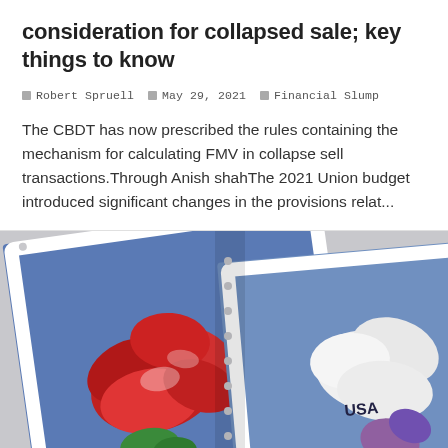consideration for collapsed sale; key things to know
Robert Spruell  May 29, 2021  Financial Slump
The CBDT has now prescribed the rules containing the mechanism for calculating FMV in collapse sell transactions.Through Anish shahThe 2021 Union budget introduced significant changes in the provisions relat...
[Figure (photo): Close-up photograph of two USA postage stamps featuring floral designs — one showing a red Christmas cactus flower on a blue background, and another partially visible stamp showing white and purple flowers, overlapping at an angle.]